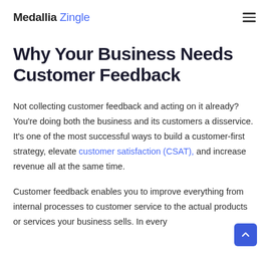Medallia Zingle
Why Your Business Needs Customer Feedback
Not collecting customer feedback and acting on it already? You're doing both the business and its customers a disservice. It's one of the most successful ways to build a customer-first strategy, elevate customer satisfaction (CSAT), and increase revenue all at the same time.
Customer feedback enables you to improve everything from internal processes to customer service to the actual products or services your business sells. In every